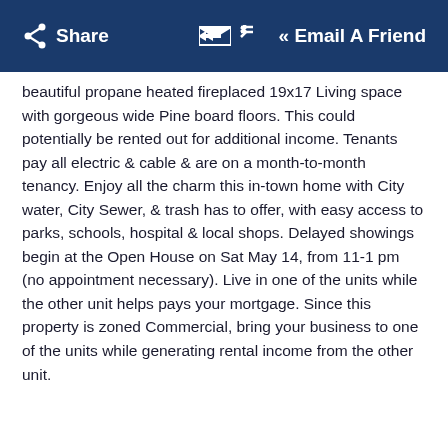Share   Email A Friend
beautiful propane heated fireplaced 19x17 Living space with gorgeous wide Pine board floors. This could potentially be rented out for additional income. Tenants pay all electric & cable & are on a month-to-month tenancy. Enjoy all the charm this in-town home with City water, City Sewer, & trash has to offer, with easy access to parks, schools, hospital & local shops. Delayed showings begin at the Open House on Sat May 14, from 11-1 pm (no appointment necessary). Live in one of the units while the other unit helps pays your mortgage. Since this property is zoned Commercial, bring your business to one of the units while generating rental income from the other unit.